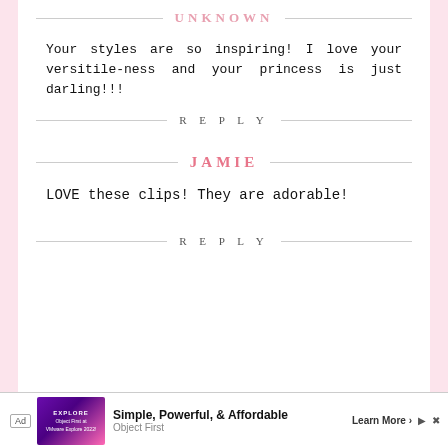UNKNOWN
Your styles are so inspiring! I love your versitile-ness and your princess is just darling!!!
REPLY
JAMIE
LOVE these clips! They are adorable!
REPLY
[Figure (screenshot): Advertisement banner: 'Simple, Powerful, & Affordable' - Object First / VMware Explore 2022, with Learn More button]